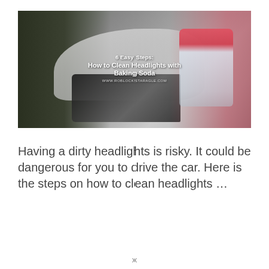[Figure (photo): A photo showing a car headlight and a hand holding a jar of baking soda with a pink lid. Overlaid text reads '6 Easy Steps: How to Clean Headlights with Baking Soda' with a URL below.]
Having a dirty headlights is risky. It could be dangerous for you to drive the car. Here is the steps on how to clean headlights ...
x